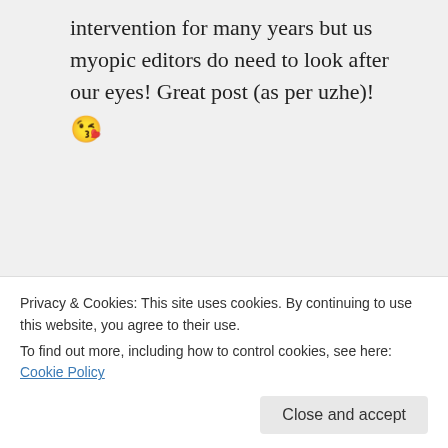intervention for many years but us myopic editors do need to look after our eyes! Great post (as per uzhe)! 😘
sjdonaldson on February 9, 2018 at 3:21 pm
Totes dwaaahling. Cat's eyes with diamonds are definitely
Privacy & Cookies: This site uses cookies. By continuing to use this website, you agree to their use.
To find out more, including how to control cookies, see here: Cookie Policy
your eyes, but mine are definitely